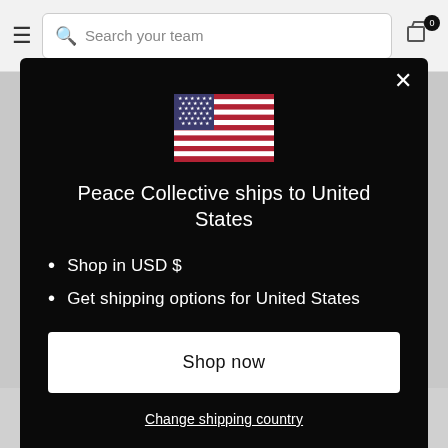[Figure (screenshot): Website navigation bar with hamburger menu, search box labeled 'Search your team', and cart icon with badge showing 0]
[Figure (screenshot): Modal dialog on dark background showing US flag, shipping information for United States]
Peace Collective ships to United States
Shop in USD $
Get shipping options for United States
Shop now
Change shipping country